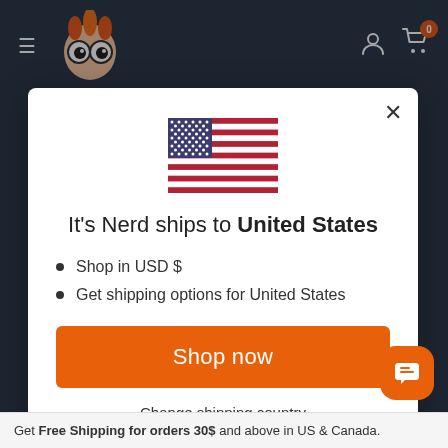[Figure (screenshot): Website header with dark navy background, hamburger menu icon, cartoon nerd character logo, user account icon, and shopping cart icon with orange badge showing 0]
[Figure (illustration): United States flag SVG illustration]
It's Nerd ships to United States
Shop in USD $
Get shipping options for United States
Shop now
Change shipping country
Get Free Shipping for orders 30$ and above in US & Canada.